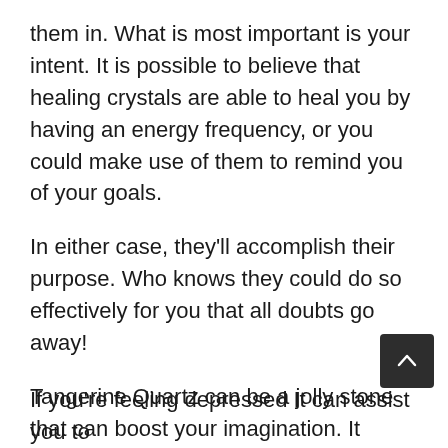them in. What is most important is your intent. It is possible to believe that healing crystals are able to heal you by having an energy frequency, or you could make use of them to remind you of your goals.
In either case, they'll accomplish their purpose. Who knows they could do so effectively for you that all doubts go away!
Tangerine Quartz can be a jolly stone that can boost your imagination. It boosts your motivation and creativity.
If you're feeling depressed It can assist you to